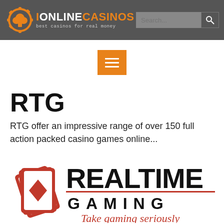IONLINECASINOS — best casinos for real money | Search
[Figure (logo): Orange hamburger/menu button with three white horizontal bars on an orange square background]
RTG
RTG offer an impressive range of over 150 full action packed casino games online...
[Figure (logo): Realtime Gaming logo: red playing card fan icon on the left, bold black REALTIME text on top, GAMING in spaced letters below with a red underline, and red italic tagline 'Take gaming seriously']